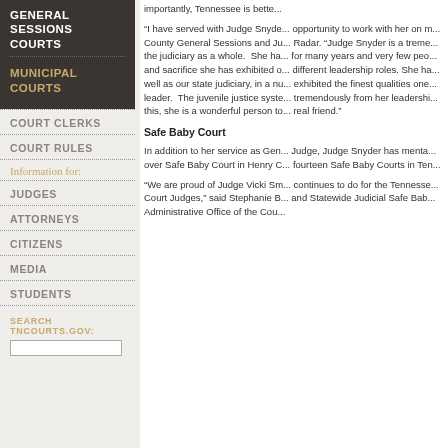GENERAL SESSIONS COURTS
MUNICIPAL COURTS
COURT CLERKS
COURT RULES
Information for:
JUDGES
ATTORNEYS
CITIZENS
MEDIA
STUDENTS
SEARCH TNCOURTS.GOV:
“I have served with Judge Snyde... opportunity to work with her on m... County General Sessions and Ju... Radar. “Judge Snyder is a treme... the judiciary as a whole. She ha... for many years and very few peo... and sacrifice she has exhibited o... different leadership roles. She ha... well as our state judiciary, in a nu... exhibited the finest qualities one... leader. The juvenile justice syste... tremendously from her leadershi... this, she is a wonderful person to... real friend.”
Safe Baby Court
In addition to her service as Gen... Judge, Judge Snyder has menta... over Safe Baby Court in Henry C... fourteen Safe Baby Courts in Ten...
“We are proud of Judge Vicki Sm... continues to do for the Tennesse... Court Judges,” said Stephanie B... and Statewide Judicial Safe Bab... Administrative Office of the Cou...